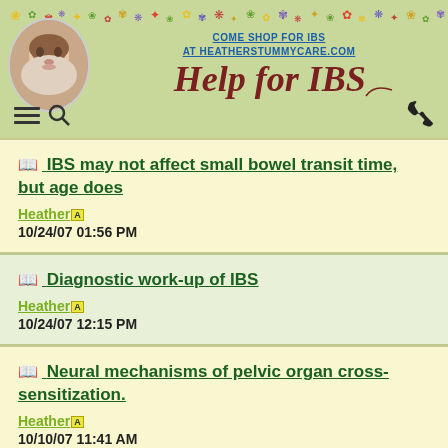COME SHOP FOR IBS AT HEATHERSTUMMYCARE.COM
Help for IBS
IBS may not affect small bowel transit time, but age does
Heather [A]
10/24/07 01:56 PM
Diagnostic work-up of IBS
Heather [A]
10/24/07 12:15 PM
Neural mechanisms of pelvic organ cross-sensitization.
Heather [A]
10/10/07 11:41 AM